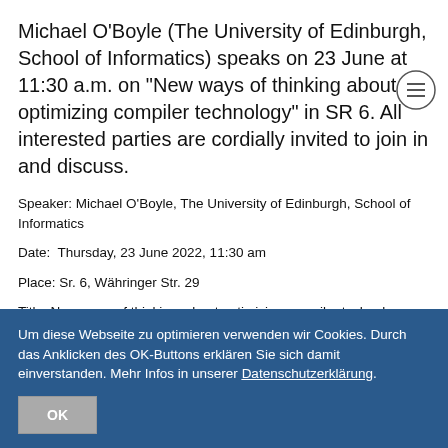Michael O'Boyle (The University of Edinburgh, School of Informatics) speaks on 23 June at 11:30 a.m. on "New ways of thinking about optimizing compiler technology" in SR 6. All interested parties are cordially invited to join in and discuss.
Speaker: Michael O'Boyle, The University of Edinburgh, School of Informatics
Date:  Thursday, 23 June 2022, 11:30 am
Place: Sr. 6, Währinger Str. 29
Title: New ways of thinking  about optimizing compiler technology
Um diese Webseite zu optimieren verwenden wir Cookies. Durch das Anklicken des OK-Buttons erklären Sie sich damit einverstanden. Mehr Infos in unserer Datenschutzerklärung.